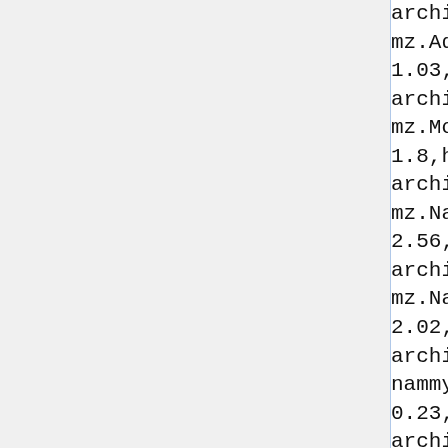archive.strangeautomata.com/rob
mz.AdeptBSB
1.03,http://robocode-archive.strangeautomata.com/rob
mz.Movement
1.8,http://robocode-archive.strangeautomata.com/rob
mz.NanoDeath
2.56,http://robocode-archive.strangeautomata.com/rob
mz.NanoGod
2.02,http://robocode-archive.strangeautomata.com/rob
nammyung.ModelT
0.23,http://robocode-archive.strangeautomata.com/rob
nan.Ihivatar_Mk_1
1.0,http://robocode-archive.strangeautomata.com/rob
nanoskank.NanoSkank
1.0,http://robocode-archive.strangeautomata.com/rob
nat.BlackHole
2.0gamma,http://robocode-archive.strangeautomata.com/rob